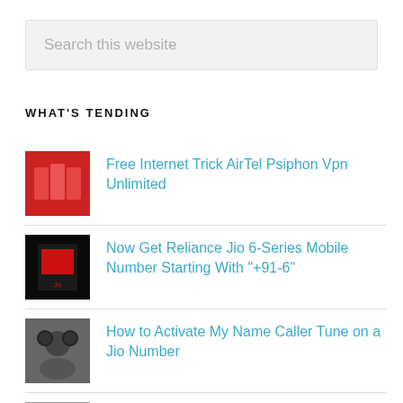[Figure (screenshot): Search box with placeholder text 'Search this website' on a light gray background]
WHAT'S TENDING
Free Internet Trick AirTel Psiphon Vpn Unlimited
Now Get Reliance Jio 6-Series Mobile Number Starting With "+91-6"
How to Activate My Name Caller Tune on a Jio Number
[Trick] How to Login PayTm Account Without OTP & Transfer Money Directly